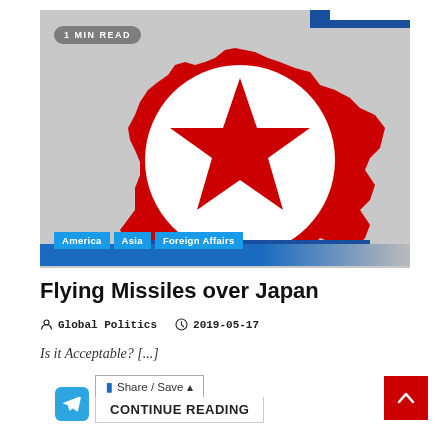[Figure (illustration): North Korea map shape filled with the North Korean flag design — red background with a white circle containing a red five-pointed star, and horizontal blue stripes at top and bottom. Category tags 'America', 'Asia', 'Foreign Affairs' overlay the lower portion. A '1 MIN READ' badge is in the upper left corner.]
Flying Missiles over Japan
Global Politics   2019-05-17
Is it Acceptable? [...]
Share / Save
CONTINUE READING